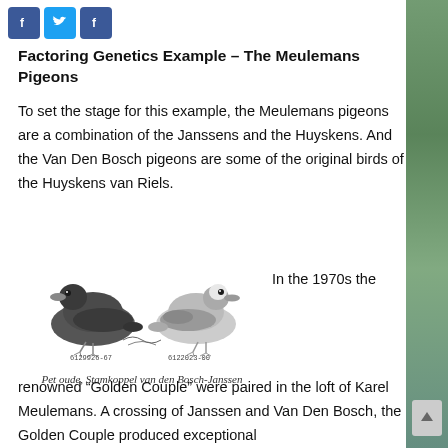[Figure (other): Three social media icons: Facebook, Twitter, Facebook (share buttons) in blue squares]
Factoring Genetics Example – The Meulemans Pigeons
To set the stage for this example, the Meulemans pigeons are a combination of the Janssens and the Huyskens. And the Van Den Bosch pigeons are some of the original birds of the Huyskens van Riels.
[Figure (illustration): Black and white illustration of two pigeons facing each other, labeled '6129926-67' and '6122023-00', with script caption 'Het oude Stamkoppel van den Bosch-Janssen']
In the 1970s the
renowned “Golden Couple” were paired in the loft of Karel Meulemans. A crossing of Janssen and Van Den Bosch, the Golden Couple produced exceptional